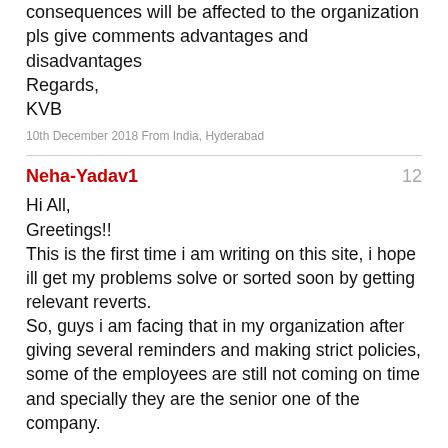consequences will be affected to the organization
pls give comments advantages and disadvantages
Regards,
KVB
10th December 2018 From India, Hyderabad
Neha-Yadav1   12
Hi All,
Greetings!!
This is the first time i am writing on this site, i hope ill get my problems solve or sorted soon by getting relevant reverts.
So, guys i am facing that in my organization after giving several reminders and making strict policies, some of the employees are still not coming on time and specially they are the senior one of the company.